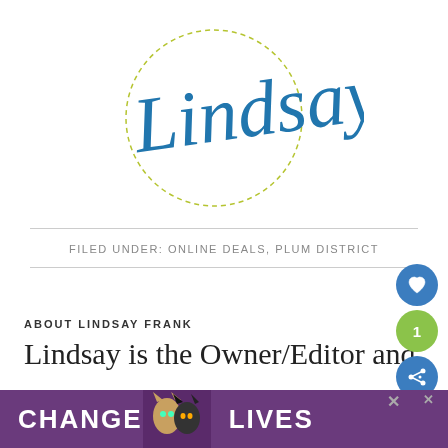[Figure (logo): Lindsay cursive signature logo with dashed circle outline in olive/yellow-green, script text in blue]
FILED UNDER: ONLINE DEALS, PLUM DISTRICT
ABOUT LINDSAY FRANK
Lindsay is the Owner/Editor and
[Figure (screenshot): Advertisement banner: 'CHANGE LIVES' with cat images on purple background]